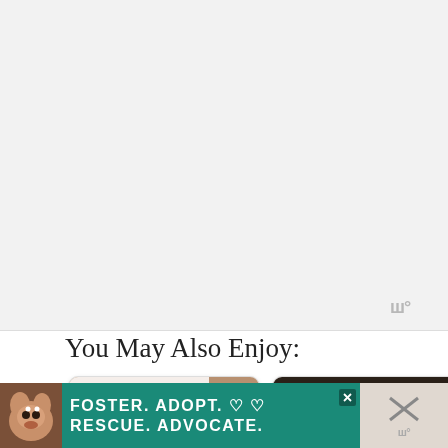[Figure (other): Ad banner area - light gray rectangle at top of page]
[Figure (other): Wordmark/watermark logo in gray at bottom right of ad area]
You May Also Enjoy:
[Figure (photo): Card thumbnail: Quick Handmade Gifts for a Homemade Christmas - image showing handmade gifts with red decorations, dark overlay with white text]
[Figure (photo): Card thumbnail: Healthy Tortillas - Easy Homemade Bread - kitchen scene with pans, dark overlay with white text]
[Figure (other): Two partial card thumbnails in second row (partially visible)]
[Figure (other): Heart/like button (teal circle) with count 2 and share button]
[Figure (other): Bottom advertisement banner: Foster. Adopt. Rescue. Advocate. with dog image and teal background]